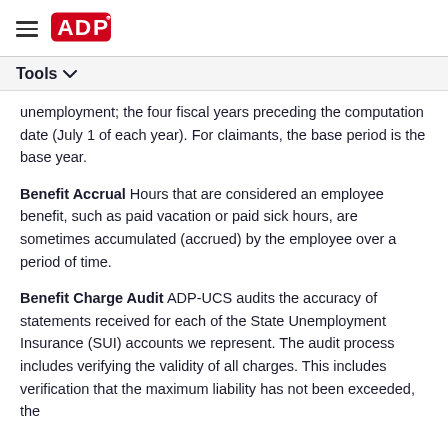ADP logo and hamburger menu
Tools
unemployment; the four fiscal years preceding the computation date (July 1 of each year). For claimants, the base period is the base year.
Benefit Accrual Hours that are considered an employee benefit, such as paid vacation or paid sick hours, are sometimes accumulated (accrued) by the employee over a period of time.
Benefit Charge Audit ADP-UCS audits the accuracy of statements received for each of the State Unemployment Insurance (SUI) accounts we represent. The audit process includes verifying the validity of all charges. This includes verification that the maximum liability has not been exceeded, the ...